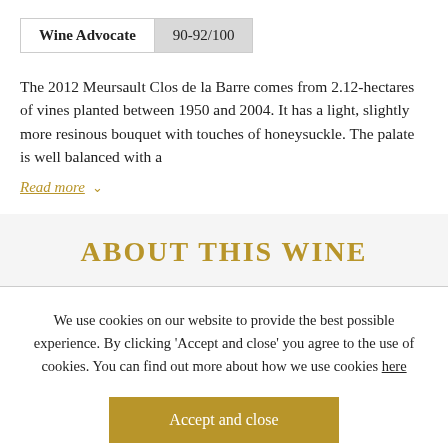| Wine Advocate | 90-92/100 |
| --- | --- |
The 2012 Meursault Clos de la Barre comes from 2.12-hectares of vines planted between 1950 and 2004. It has a light, slightly more resinous bouquet with touches of honeysuckle. The palate is well balanced with a
Read more ∨
ABOUT THIS WINE
We use cookies on our website to provide the best possible experience. By clicking 'Accept and close' you agree to the use of cookies. You can find out more about how we use cookies here
Accept and close